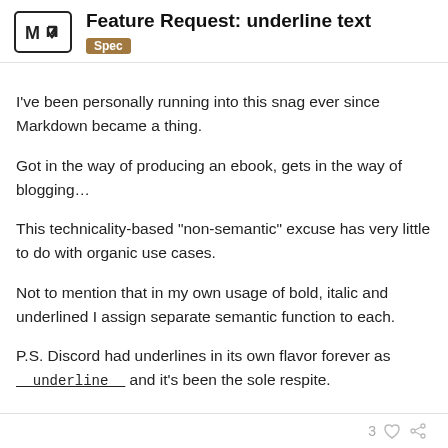Feature Request: underline text
Spec
I've been personally running into this snag ever since Markdown became a thing.
Got in the way of producing an ebook, gets in the way of blogging…
This technicality-based "non-semantic" excuse has very little to do with organic use cases.
Not to mention that in my own usage of bold, italic and underlined I assign separate semantic function to each.

P.S. Discord had underlines in its own flavor forever as __underline__ and it's been the sole respite.
4 MONTHS LATER
danielgrad
17 / 23